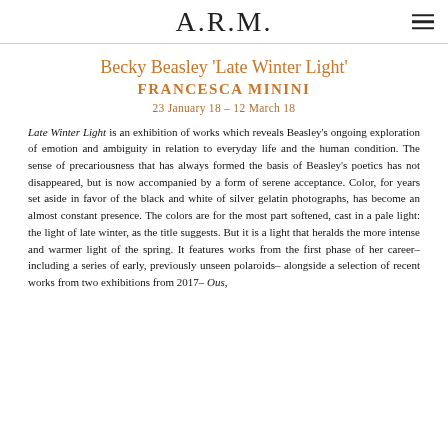A.R.M.
Becky Beasley 'Late Winter Light'
FRANCESCA MININI
23 January 18 – 12 March 18
Late Winter Light is an exhibition of works which reveals Beasley's ongoing exploration of emotion and ambiguity in relation to everyday life and the human condition. The sense of precariousness that has always formed the basis of Beasley's poetics has not disappeared, but is now accompanied by a form of serene acceptance. Color, for years set aside in favor of the black and white of silver gelatin photographs, has become an almost constant presence. The colors are for the most part softened, cast in a pale light: the light of late winter, as the title suggests. But it is a light that heralds the more intense and warmer light of the spring. It features works from the first phase of her career– including a series of early, previously unseen polaroids– alongside a selection of recent works from two exhibitions from 2017– Ous,